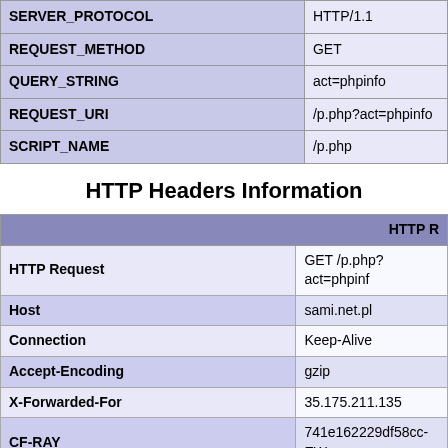| Key | Value |
| --- | --- |
| SERVER_PROTOCOL | HTTP/1.1 |
| REQUEST_METHOD | GET |
| QUERY_STRING | act=phpinfo |
| REQUEST_URI | /p.php?act=phpinfo |
| SCRIPT_NAME | /p.php |
HTTP Headers Information
|  | HTTP R… |
| --- | --- |
| HTTP Request | GET /p.php?act=phpinf… |
| Host | sami.net.pl |
| Connection | Keep-Alive |
| Accept-Encoding | gzip |
| X-Forwarded-For | 35.175.211.135 |
| CF-RAY | 741e162229df58cc-EW… |
| X-Forwarded-Proto | https |
| CF-Visitor | {"scheme":"https"} |
| upgrade-insecure-requests | 1 |
| user-agent | Mozilla/5.0 (iPhone; CF… Version/11.0 Mobile/15… |
| accept | text/html,application/x… |